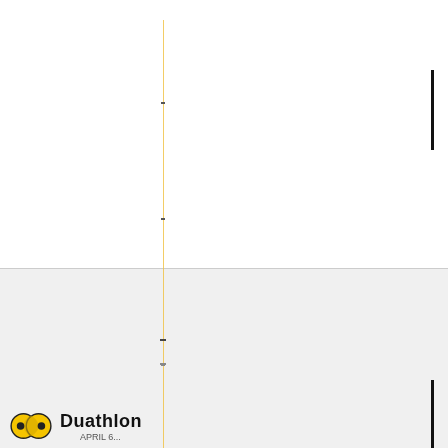[Figure (other): Document page with vertical ruled lines, tick marks, horizontal divider, footer area with a Duathlon logo (two interlocked circles in yellow/black) and partial text 'Duathlon' with additional cut-off text]